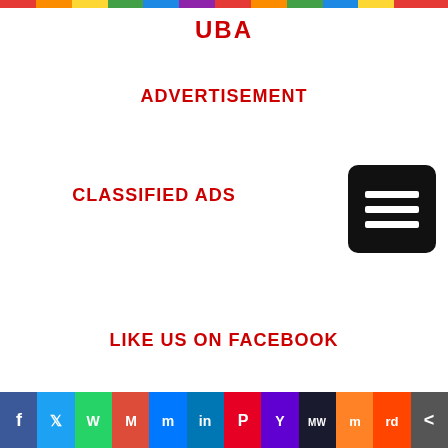[Figure (illustration): Colorful decorative header banner strip]
UBA
ADVERTISEMENT
CLASSIFIED ADS
[Figure (illustration): Black rounded square menu/hamburger icon with three white horizontal bars]
LIKE US ON FACEBOOK
[Figure (illustration): Social media sharing bar with icons for Facebook, Twitter, WhatsApp, Gmail, Messenger, LinkedIn, Pinterest, Yahoo, MeWe, Mix, Reddit, and More]